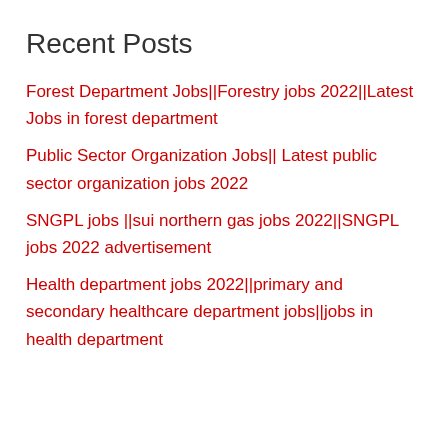Recent Posts
Forest Department Jobs||Forestry jobs 2022||Latest Jobs in forest department
Public Sector Organization Jobs|| Latest public sector organization jobs 2022
SNGPL jobs ||sui northern gas jobs 2022||SNGPL jobs 2022 advertisement
Health department jobs 2022||primary and secondary healthcare department jobs||jobs in health department